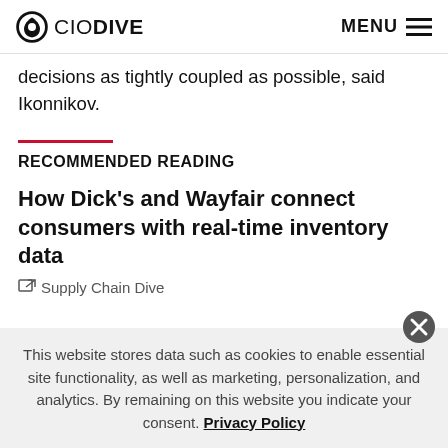CIO DIVE  MENU
decisions as tightly coupled as possible, said Ikonnikov.
RECOMMENDED READING
How Dick's and Wayfair connect consumers with real-time inventory data
Supply Chain Dive
This website stores data such as cookies to enable essential site functionality, as well as marketing, personalization, and analytics. By remaining on this website you indicate your consent. Privacy Policy